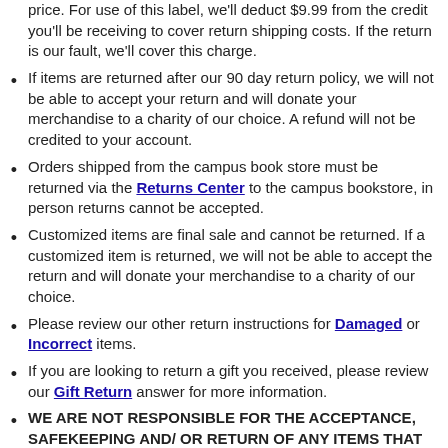price. For use of this label, we'll deduct $9.99 from the credit you'll be receiving to cover return shipping costs. If the return is our fault, we'll cover this charge.
If items are returned after our 90 day return policy, we will not be able to accept your return and will donate your merchandise to a charity of our choice. A refund will not be credited to your account.
Orders shipped from the campus book store must be returned via the Returns Center to the campus bookstore, in person returns cannot be accepted.
Customized items are final sale and cannot be returned. If a customized item is returned, we will not be able to accept the return and will donate your merchandise to a charity of our choice.
Please review our other return instructions for Damaged or Incorrect items.
If you are looking to return a gift you received, please review our Gift Return answer for more information.
WE ARE NOT RESPONSIBLE FOR THE ACCEPTANCE, SAFEKEEPING AND/ OR RETURN OF ANY ITEMS THAT YOU SHIP TO US IN ERROR (I.E., ITEMS THAT WERE NOT PURCHASED ON OUR SITE) ("ERRONEOUS